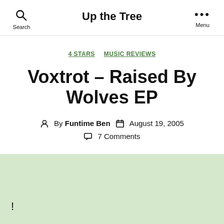Up the Tree
4 STARS  MUSIC REVIEWS
Voxtrot – Raised By Wolves EP
By Funtime Ben  August 19, 2005
7 Comments
!